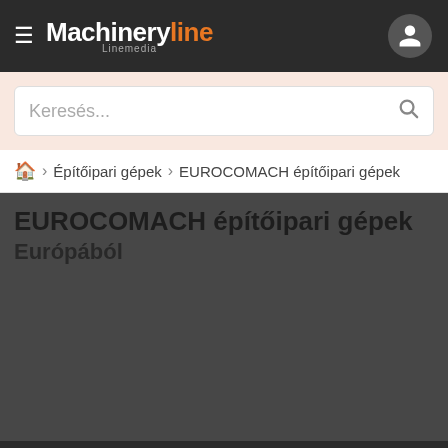Machineryline – Linemedia
Keresés...
Építőipari gépek › EUROCOMACH építőipari gépek
EUROCOMACH építőipari gépek Európából
Az Machineryline és partnerei cookie-t használnak és adatokat gyűjtenek ezen weboldal látogatásairól a hirdetések személyre szabása érdekében.
Részletek
Elfogadás és bezárás
EUROCOMACH építőipari gépek: 18 hirdetés